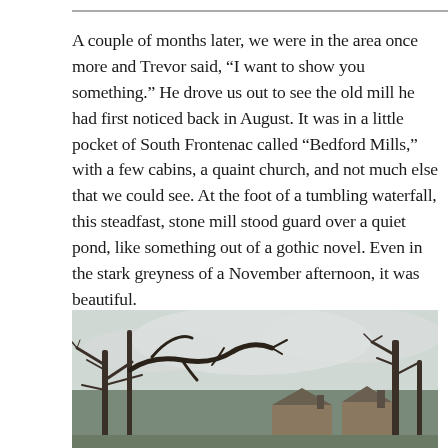A couple of months later, we were in the area once more and Trevor said, “I want to show you something.” He drove us out to see the old mill he had first noticed back in August. It was in a little pocket of South Frontenac called “Bedford Mills,” with a few cabins, a quaint church, and not much else that we could see. At the foot of a tumbling waterfall, this steadfast, stone mill stood guard over a quiet pond, like something out of a gothic novel. Even in the stark greyness of a November afternoon, it was beautiful.
[Figure (photo): Photograph showing bare winter trees with twisting branches against an overcast grey sky, with stone building rooftops and chimneys visible beneath the trees.]